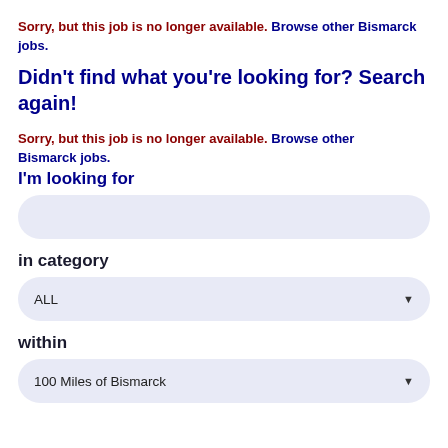Sorry, but this job is no longer available. Browse other Bismarck jobs.
Didn't find what you're looking for? Search again!
Sorry, but this job is no longer available. Browse other Bismarck jobs.
I'm looking for
in category
ALL
within
100 Miles of Bismarck